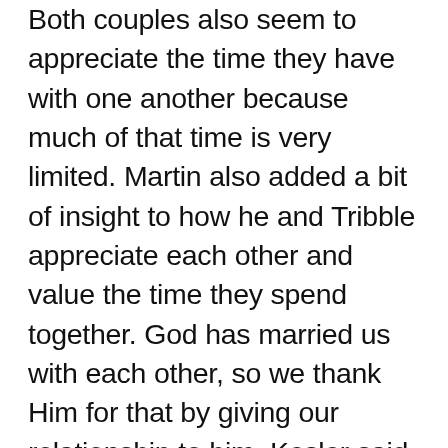Both couples also seem to appreciate the time they have with one another because much of that time is very limited. Martin also added a bit of insight to how he and Tribble appreciate each other and value the time they spend together. God has married us with each other, so we thank Him for that by giving our relationship to him. Kesler said this: Along the same lines as Kesler, Martin also finds dating another athlete to be awesome but took a little more of a practical approach. Martin added: Our relationship is stronger than ever and we are busier than ever. It all comes down to how you use your date and making sure the time you do get to spend together is genuine quality time. Quality over quantity in my book. News Ticker. Clayton Martin, sophomore midfielder